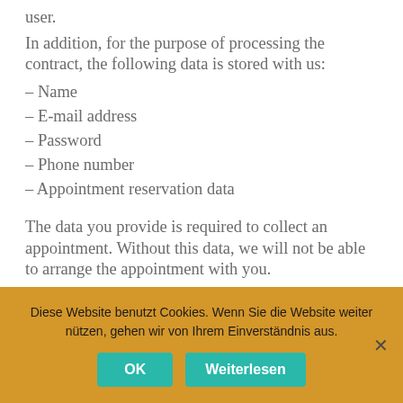user.
In addition, for the purpose of processing the contract, the following data is stored with us:
– Name
– E-mail address
– Password
– Phone number
– Appointment reservation data
The data you provide is required to collect an appointment. Without this data, we will not be able to arrange the appointment with you.
Data is not transmitted to third parties.
Once the appointment has been terminated, the
Diese Website benutzt Cookies. Wenn Sie die Website weiter nützen, gehen wir von Ihrem Einverständnis aus.